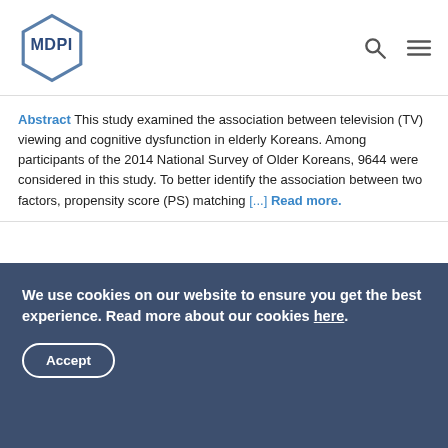MDPI logo with search and menu icons
Abstract This study examined the association between television (TV) viewing and cognitive dysfunction in elderly Koreans. Among participants of the 2014 National Survey of Older Koreans, 9644 were considered in this study. To better identify the association between two factors, propensity score (PS) matching [...] Read more.
The Meaning of Work and Self-Management Experiences among Elderly Workers with Multiple Chronic Diseases: A Qualitative Study
by Juah Kim and Jiyeon Ha
We use cookies on our website to ensure you get the best experience. Read more about our cookies here.